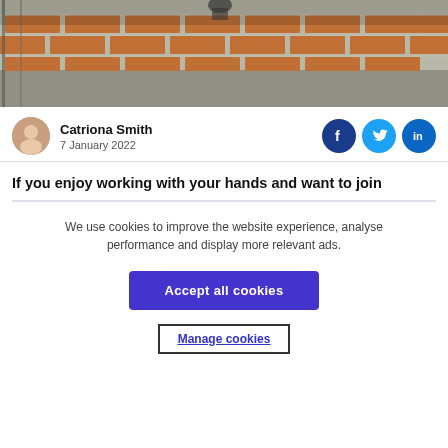[Figure (photo): Construction site photo showing workers laying orange/red bricks with scaffolding and mortar visible]
Catriona Smith
7 January 2022
[Figure (infographic): Social sharing icons: Facebook, Twitter, LinkedIn]
If you enjoy working with your hands and want to join
We use cookies to improve the website experience, analyse performance and display more relevant ads.
Accept all cookies
Manage cookies